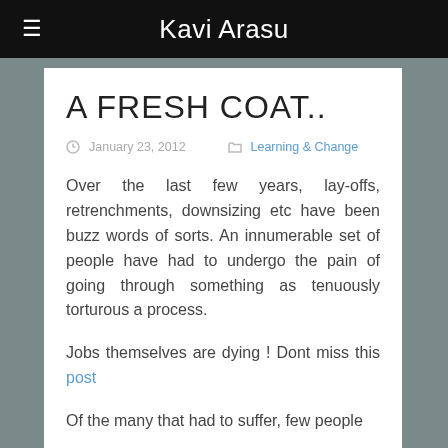Kavi Arasu
A FRESH COAT..
January 23, 2012   Learning & Change
Over the last few years, lay-offs, retrenchments, downsizing etc have been buzz words of sorts. An innumerable set of people have had to undergo the pain of going through something as tenuously torturous a process.
Jobs themselves are dying ! Dont miss this post
Of the many that had to suffer, few people